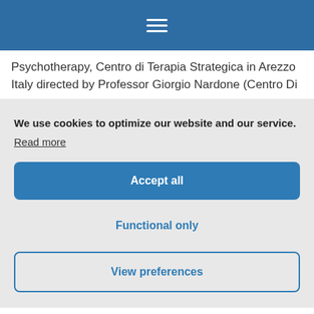[Figure (screenshot): Blue navigation header bar with white hamburger menu icon (three horizontal lines)]
Psychotherapy, Centro di Terapia Strategica in Arezzo Italy directed by Professor Giorgio Nardone (Centro Di
We use cookies to optimize our website and our service. Read more
Accept all
Functional only
View preferences
supervisor and teacher at The Mater Hospital, Dublin